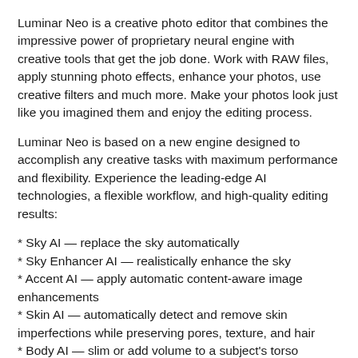Luminar Neo is a creative photo editor that combines the impressive power of proprietary neural engine with creative tools that get the job done. Work with RAW files, apply stunning photo effects, enhance your photos, use creative filters and much more. Make your photos look just like you imagined them and enjoy the editing process.
Luminar Neo is based on a new engine designed to accomplish any creative tasks with maximum performance and flexibility. Experience the leading-edge AI technologies, a flexible workflow, and high-quality editing results:
* Sky AI — replace the sky automatically
* Sky Enhancer AI — realistically enhance the sky
* Accent AI — apply automatic content-aware image enhancements
* Skin AI — automatically detect and remove skin imperfections while preserving pores, texture, and hair
* Body AI — slim or add volume to a subject's torso
* Supercontrast — precisely adjust tonal contrast in different tonal ranges independently
* Structure AI — realistically enhance the detail and clarity of an image only in areas where enhancements will improve image quality